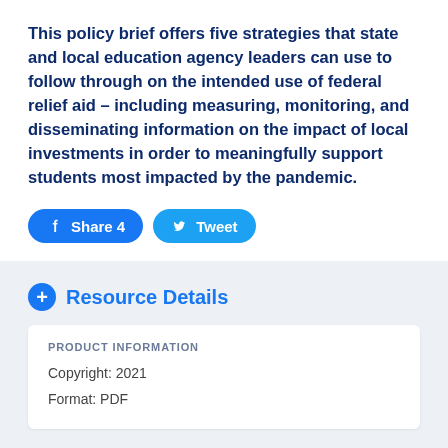This policy brief offers five strategies that state and local education agency leaders can use to follow through on the intended use of federal relief aid – including measuring, monitoring, and disseminating information on the impact of local investments in order to meaningfully support students most impacted by the pandemic.
[Figure (other): Social sharing buttons: Facebook 'Share 4' button and Twitter 'Tweet' button]
Resource Details
PRODUCT INFORMATION
Copyright: 2021
Format: PDF